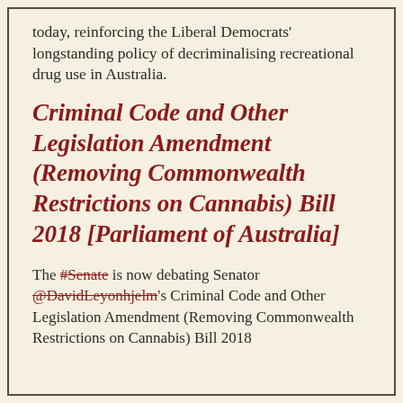today, reinforcing the Liberal Democrats' longstanding policy of decriminalising recreational drug use in Australia.
Criminal Code and Other Legislation Amendment (Removing Commonwealth Restrictions on Cannabis) Bill 2018 [Parliament of Australia]
The #Senate is now debating Senator @DavidLeyonhjelm's Criminal Code and Other Legislation Amendment (Removing Commonwealth Restrictions on Cannabis) Bill 2018